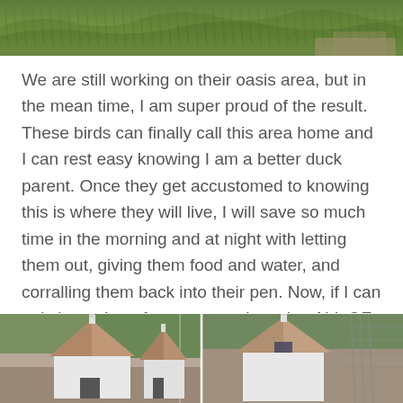[Figure (photo): Top portion of a photo showing green grass outdoors]
We are still working on their oasis area, but in the mean time, I am super proud of the result. These birds can finally call this area home and I can rest easy knowing I am a better duck parent. Once they get accustomed to knowing this is where they will live, I will save so much time in the morning and at night with letting them out, giving them food and water, and corralling them back into their pen. Now, if I can only keep them from constantly eating ALL OF THE GRASS!
[Figure (photo): Bottom photos showing white duck houses/coops with pyramid-shaped roofs, surrounded by dirt and greenery. Two photos side by side.]